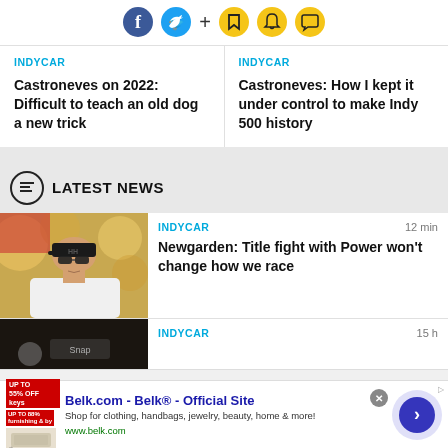[Figure (other): Social media icons: Facebook (blue circle), Twitter (blue bird circle), plus sign, bookmark icon (yellow), bell icon (yellow), chat bubble icon (yellow)]
INDYCAR
Castroneves on 2022: Difficult to teach an old dog a new trick
INDYCAR
Castroneves: How I kept it under control to make Indy 500 history
LATEST NEWS
INDYCAR    12 min
Newgarden: Title fight with Power won't change how we race
INDYCAR    15 h
[Figure (photo): Advertisement banner: Belk.com - Belk Official Site. Shop for clothing, handbags, jewelry, beauty, home & more! www.belk.com]